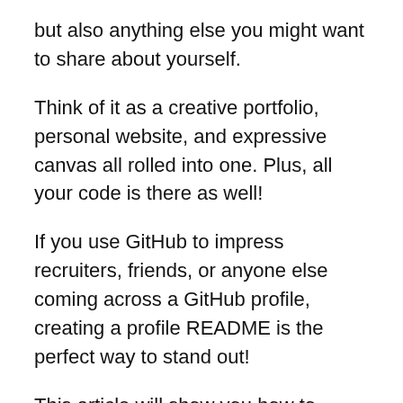but also anything else you might want to share about yourself.
Think of it as a creative portfolio, personal website, and expressive canvas all rolled into one. Plus, all your code is there as well!
If you use GitHub to impress recruiters, friends, or anyone else coming across a GitHub profile, creating a profile README is the perfect way to stand out!
This article will show you how to create a badass one and make it stand out using some cool tricks and tools!